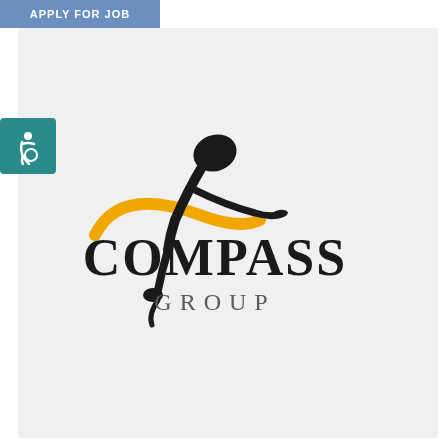APPLY FOR JOB
[Figure (logo): Compass Group logo with stylized figure and yellow arc, with COMPASS GROUP text]
[Figure (logo): Accessibility icon - white figure on teal background]